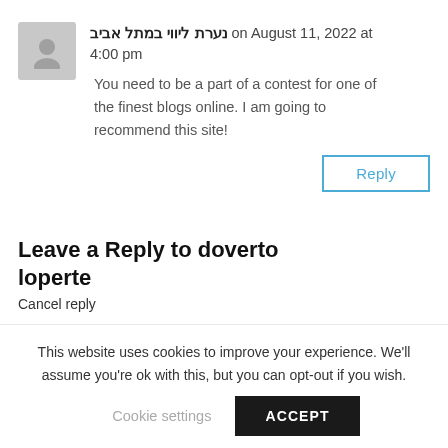נערת ליווי במתל אביב on August 11, 2022 at 4:00 pm
You need to be a part of a contest for one of the finest blogs online. I am going to recommend this site!
Reply
Leave a Reply to doverto loperte
Cancel reply
This website uses cookies to improve your experience. We'll assume you're ok with this, but you can opt-out if you wish.
Cookie settings
ACCEPT